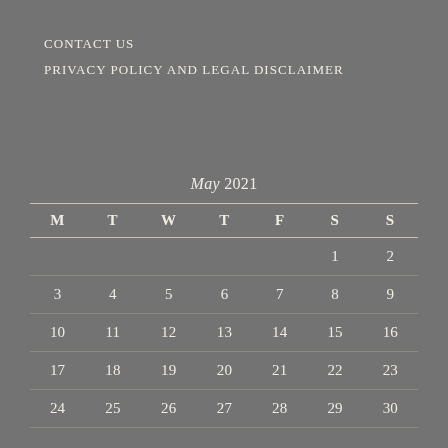CONTACT US
PRIVACY POLICY AND LEGAL DISCLAIMER
| M | T | W | T | F | S | S |
| --- | --- | --- | --- | --- | --- | --- |
|  |  |  |  |  | 1 | 2 |
| 3 | 4 | 5 | 6 | 7 | 8 | 9 |
| 10 | 11 | 12 | 13 | 14 | 15 | 16 |
| 17 | 18 | 19 | 20 | 21 | 22 | 23 |
| 24 | 25 | 26 | 27 | 28 | 29 | 30 |